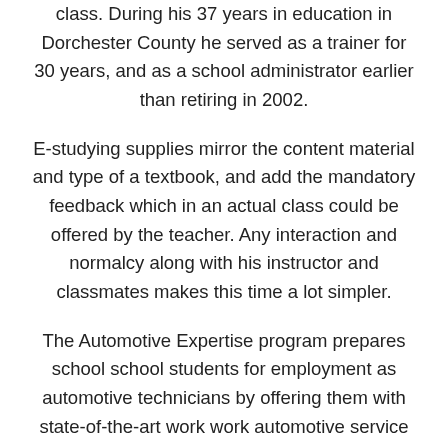class. During his 37 years in education in Dorchester County he served as a trainer for 30 years, and as a school administrator earlier than retiring in 2002.
E-studying supplies mirror the content material and type of a textbook, and add the mandatory feedback which in an actual class could be offered by the teacher. Any interaction and normalcy along with his instructor and classmates makes this time a lot simpler.
The Automotive Expertise program prepares school school students for employment as automotive technicians by offering them with state-of-the-art work work automotive service